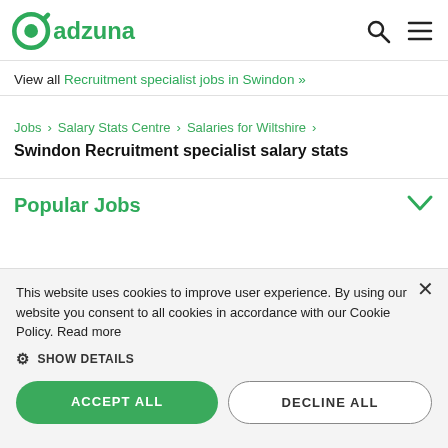[Figure (logo): Adzuna logo — green circular icon with 'adzuna' text in green]
View all Recruitment specialist jobs in Swindon »
Jobs › Salary Stats Centre › Salaries for Wiltshire ›
Swindon Recruitment specialist salary stats
Popular Jobs
This website uses cookies to improve user experience. By using our website you consent to all cookies in accordance with our Cookie Policy. Read more
SHOW DETAILS
ACCEPT ALL
DECLINE ALL